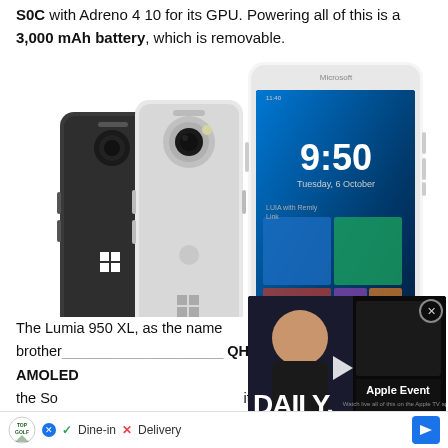S0C with Adreno 4 10 for its GPU. Powering all of this is a 3,000 mAh battery, which is removable.
[Figure (photo): Product photo of Microsoft Lumia 950 smartphones shown from multiple angles: back views in dark grey and white, and front view showing the Windows 10 Mobile lock screen with time 9:50 and date Tuesday, 6 October.]
[Figure (screenshot): Ad overlay showing a man's face with text 'DAILY.' in large white letters, and adjacent 'Apple Event' promotional content with a cracked phone screen image.]
The Lumia 950 XL, as the name... brother...  QHD AMOLED... i. For the So... its
[Figure (infographic): Bottom ad bar showing TopGolf logo, checkmark Dine-in, X Delivery, and a blue navigation arrow icon with a small blue X dismiss button.]